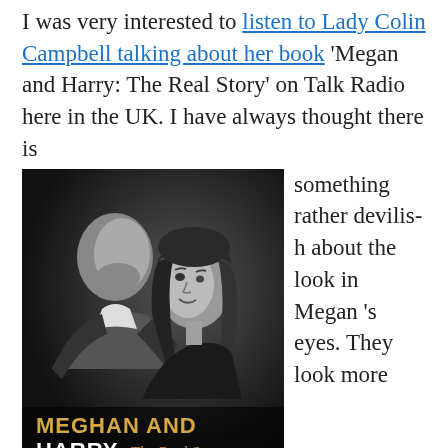I was very interested to listen to Lady Colin Campbell talking about her book 'Megan and Harry: The Real Story' on Talk Radio here in the UK. I have always thought there is something rather devilish about the look in Megan's eyes. They look more
[Figure (photo): Black and white book cover photo of a man (Prince Harry) and a woman (Meghan Markle) facing each other. The woman is smiling subtly. Text at the bottom reads 'MEGHAN AND HARRY The Real Story' in gold/white lettering.]